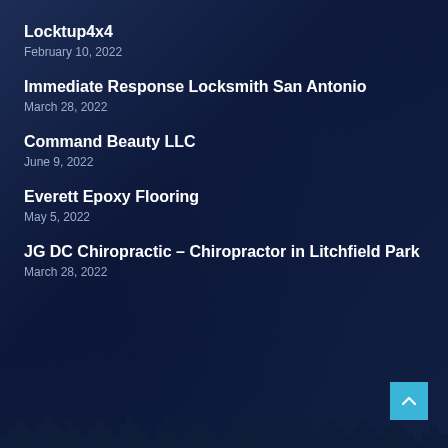Locktup4x4
February 10, 2022
Immediate Response Locksmith San Antonio
March 28, 2022
Command Beauty LLC
June 9, 2022
Everett Epoxy Flooring
May 5, 2022
JG DC Chiropractic – Chiropractor in Litchfield Park
March 28, 2022